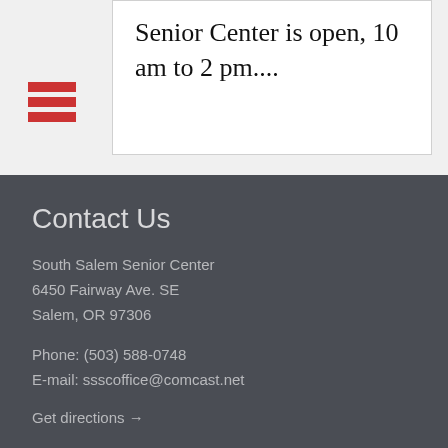Senior Center is open, 10 am to 2 pm....
[Figure (other): Red hamburger menu icon with three horizontal bars]
Contact Us
South Salem Senior Center
6450 Fairway Ave. SE
Salem, OR 97306
Phone: (503) 588-0748
E-mail: ssscoffice@comcast.net
Get directions →